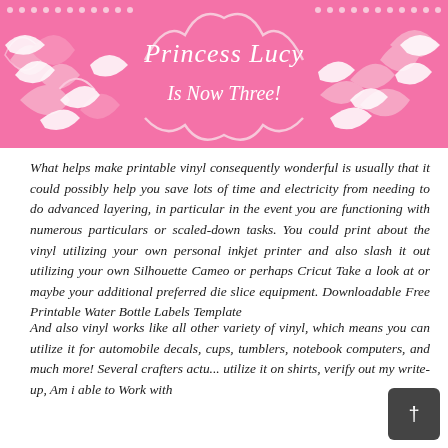[Figure (illustration): Pink decorative banner with swirling floral/scroll pattern in white, featuring the text 'Princess Lucy Is Now Three!' in the center. Pink dots decorate the top edge.]
What helps make printable vinyl consequently wonderful is usually that it could possibly help you save lots of time and electricity from needing to do advanced layering, in particular in the event you are functioning with numerous particulars or scaled-down tasks. You could print about the vinyl utilizing your own personal inkjet printer and also slash it out utilizing your own Silhouette Cameo or perhaps Cricut Take a look at or maybe your additional preferred die slice equipment. Downloadable Free Printable Water Bottle Labels Template
And also vinyl works like all other variety of vinyl, which means you can utilize it for automobile decals, cups, tumblers, notebook computers, and much more! Several crafters actu... utilize it on shirts, verify out my write-up, Am i able to Work with